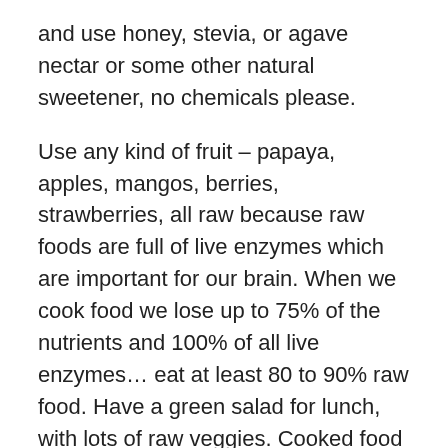and use honey, stevia, or agave nectar or some other natural sweetener, no chemicals please.
Use any kind of fruit – papaya, apples, mangos, berries, strawberries, all raw because raw foods are full of live enzymes which are important for our brain. When we cook food we lose up to 75% of the nutrients and 100% of all live enzymes… eat at least 80 to 90% raw food. Have a green salad for lunch, with lots of raw veggies. Cooked food is seen by the body as an invader and it's hard on our immune system, and it's not good for our mental health. In between meals eat organic carrot sticks, any other veggie, and fruit of any kind as snacks – eat 4 snacks a day at 10AM, 2PM, 4PM, and 7PM. That's 1/2 cup of any of fruit or veggie.
Have dinner have a hot meal around 5 or 6 PM. Make a